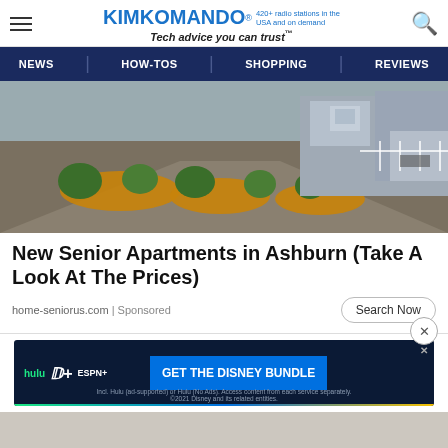KIMKOMANDO® 420+ radio stations in the USA and on demand Tech advice you can trust™
NEWS | HOW-TOS | SHOPPING | REVIEWS
[Figure (photo): Outdoor pathway next to a row of small blue residential buildings with green shrubs and orange mulch landscaping]
New Senior Apartments in Ashburn (Take A Look At The Prices)
home-seniorus.com | Sponsored
[Figure (screenshot): Disney Bundle advertisement banner showing Hulu, Disney+, ESPN+ logos with 'GET THE DISNEY BUNDLE' call to action and fine print about Hulu ad-supported or No Ads plans]
[Figure (photo): Partial second advertisement image block]